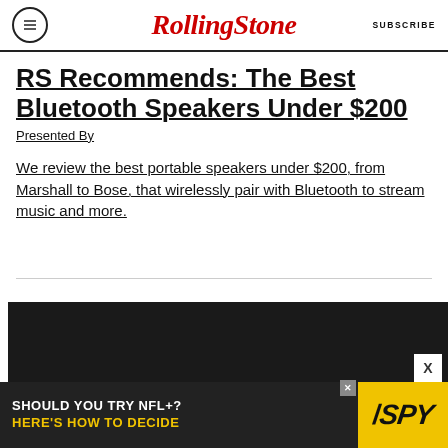RollingStone  SUBSCRIBE
RS Recommends: The Best Bluetooth Speakers Under $200
Presented By
We review the best portable speakers under $200, from Marshall to Bose, that wirelessly pair with Bluetooth to stream music and more.
[Figure (other): Dark advertisement block area]
[Figure (other): Advertisement banner: SHOULD YOU TRY NFL+? HERE'S HOW TO DECIDE with SPY logo]